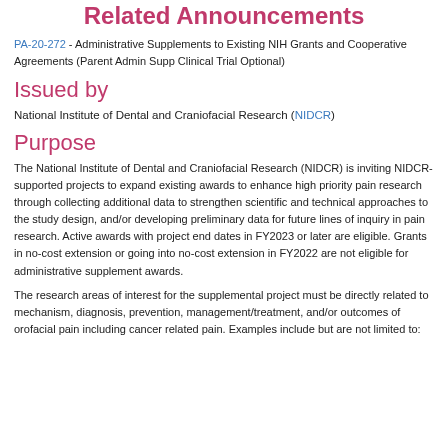Related Announcements
PA-20-272 - Administrative Supplements to Existing NIH Grants and Cooperative Agreements (Parent Admin Supp Clinical Trial Optional)
Issued by
National Institute of Dental and Craniofacial Research (NIDCR)
Purpose
The National Institute of Dental and Craniofacial Research (NIDCR) is inviting NIDCR-supported projects to expand existing awards to enhance high priority pain research through collecting additional data to strengthen scientific and technical approaches to the study design, and/or developing preliminary data for future lines of inquiry in pain research. Active awards with project end dates in FY2023 or later are eligible. Grants in no-cost extension or going into no-cost extension in FY2022 are not eligible for administrative supplement awards.
The research areas of interest for the supplemental project must be directly related to mechanism, diagnosis, prevention, management/treatment, and/or outcomes of orofacial pain including cancer related pain. Examples include but are not limited to: